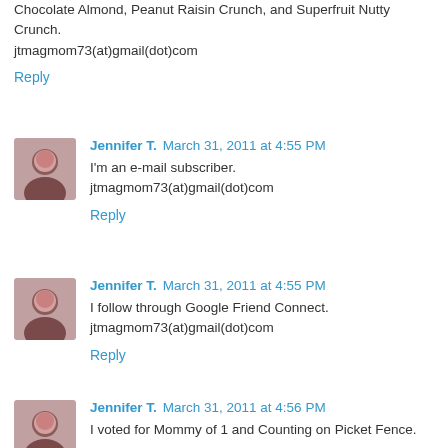Chocolate Almond, Peanut Raisin Crunch, and Superfruit Nutty Crunch.
jtmagmom73(at)gmail(dot)com
Reply
Jennifer T. March 31, 2011 at 4:55 PM
I'm an e-mail subscriber.
jtmagmom73(at)gmail(dot)com
Reply
Jennifer T. March 31, 2011 at 4:55 PM
I follow through Google Friend Connect.
jtmagmom73(at)gmail(dot)com
Reply
Jennifer T. March 31, 2011 at 4:56 PM
I voted for Mommy of 1 and Counting on Picket Fence.